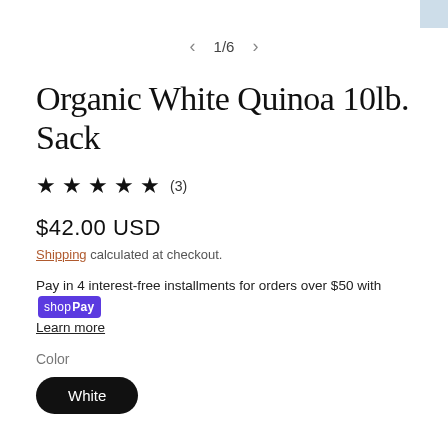[Figure (other): Navigation arrow left, page indicator 1/6, navigation arrow right]
Organic White Quinoa 10lb. Sack
★ ★ ★ ★ ★ (3)
$42.00 USD
Shipping calculated at checkout.
Pay in 4 interest-free installments for orders over $50 with shop Pay
Learn more
Color
White